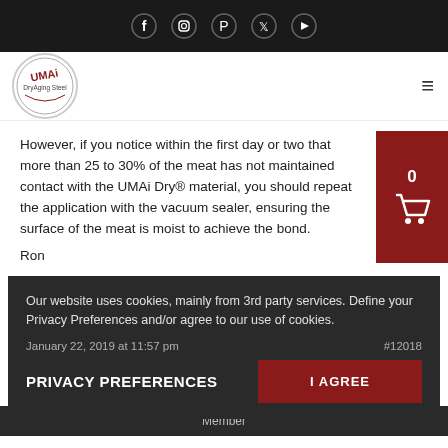Social media icons: Facebook, Instagram, Pinterest, Twitter, YouTube
[Figure (logo): UMAi Dry logo - circular badge with red text on white background]
However, if you notice within the first day or two that more than 25 to 30% of the meat has not maintained contact with the UMAi Dry® material, you should repeat the application with the vacuum sealer, ensuring the surface of the meat is moist to achieve the bond.
Ron
Our website uses cookies, mainly from 3rd party services. Define your Privacy Preferences and/or agree to our use of cookies.
January 22, 2019 at 11:57 pm
#12018
PRIVACY PREFERENCES
I AGREE
Member